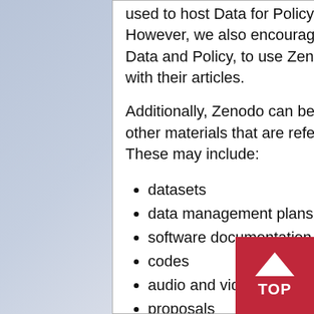used to host Data for Policy for conference papers and posters. However, we also encourage authors, who are already submitting to Data and Policy, to use Zenodo for presenting content associated with their articles.
Additionally, Zenodo can be used as a repository to host data and other materials that are referred to in the Data Availability Statement. These may include:
datasets
data management plans
software documentation
codes
audio and video files
proposals
reports, and
technical notes
Moreover, authors who wish to cite any relevant materials could use the unique Digital Object Identifier (DOI) that Zenodo